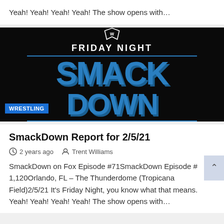Yeah! Yeah! Yeah! Yeah! The show opens with…
[Figure (photo): WWE Friday Night SmackDown logo on dark background with blue text and a WRESTLING badge in lower left corner]
SmackDown Report for 2/5/21
2 years ago   Trent Williams
SmackDown on Fox Episode #71SmackDown Episode #1,120Orlando, FL – The Thunderdome (Tropicana Field)2/5/21 It's Friday Night, you know what that means. Yeah! Yeah! Yeah! Yeah! The show opens with…